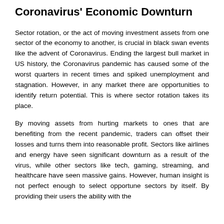Coronavirus' Economic Downturn
Sector rotation, or the act of moving investment assets from one sector of the economy to another, is crucial in black swan events like the advent of Coronavirus. Ending the largest bull market in US history, the Coronavirus pandemic has caused some of the worst quarters in recent times and spiked unemployment and stagnation. However, in any market there are opportunities to identify return potential. This is where sector rotation takes its place.
By moving assets from hurting markets to ones that are benefiting from the recent pandemic, traders can offset their losses and turns them into reasonable profit. Sectors like airlines and energy have seen significant downturn as a result of the virus, while other sectors like tech, gaming, streaming, and healthcare have seen massive gains. However, human insight is not perfect enough to select opportune sectors by itself. By providing their users the ability with the...